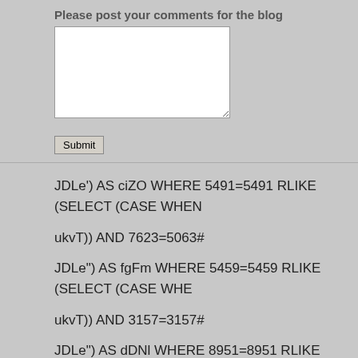Please post your comments for the blog
[Figure (screenshot): Web form with textarea and Submit button for blog comments]
JDLe') AS ciZO WHERE 5491=5491 RLIKE (SELECT (CASE WHEN
ukvT)) AND 7623=5063#
JDLe") AS fgFm WHERE 5459=5459 RLIKE (SELECT (CASE WHE
ukvT)) AND 3157=3157#
JDLe") AS dDNl WHERE 8951=8951 RLIKE (SELECT (CASE WHE
JDLe' IN BOOLEAN MODE) RLIKE (SELECT (CASE WHEN (3319=
ukvT))) AND 1642=2586#
JDLe' IN BOOLEAN MODE) RLIKE (SELECT (CASE WHEN (2351=
ukvT))) AND 3157=3157#